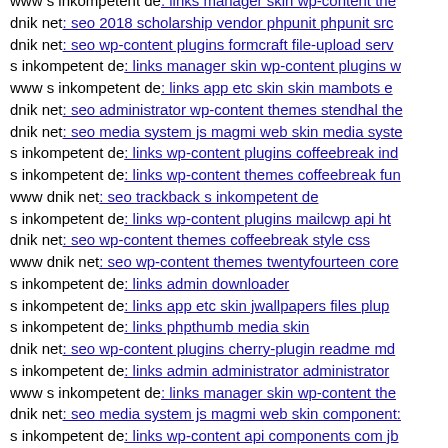www s inkompetent de: links manager skin wp-content the...
dnik net: seo 2018 scholarship vendor phpunit phpunit src...
dnik net: seo wp-content plugins formcraft file-upload serv...
s inkompetent de: links manager skin wp-content plugins w...
www s inkompetent de: links app etc skin skin mambots e...
dnik net: seo administrator wp-content themes stendhal the...
dnik net: seo media system js magmi web skin media syste...
s inkompetent de: links wp-content plugins coffeebreak ind...
s inkompetent de: links wp-content themes coffeebreak fun...
www dnik net: seo trackback s inkompetent de
s inkompetent de: links wp-content plugins mailcwp api ht...
dnik net: seo wp-content themes coffeebreak style css
www dnik net: seo wp-content themes twentyfourteen core...
s inkompetent de: links admin downloader
s inkompetent de: links app etc skin jwallpapers files plup...
s inkompetent de: links phpthumb media skin
dnik net: seo wp-content plugins cherry-plugin readme md...
s inkompetent de: links admin administrator administrator...
www s inkompetent de: links manager skin wp-content the...
dnik net: seo media system js magmi web skin component:...
s inkompetent de: links wp-content api components com jb...